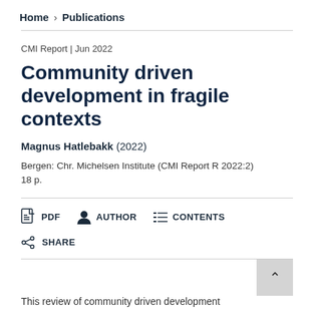Home > Publications
CMI Report | Jun 2022
Community driven development in fragile contexts
Magnus Hatlebakk (2022)
Bergen: Chr. Michelsen Institute (CMI Report R 2022:2) 18 p.
PDF   AUTHOR   CONTENTS
SHARE
This review of community driven development